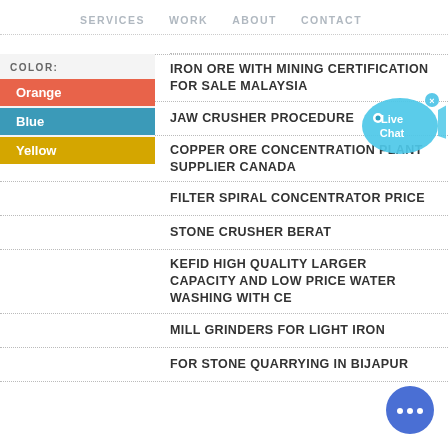SERVICES  WORK  ABOUT  CONTACT
IRON ORE WITH MINING CERTIFICATION FOR SALE MALAYSIA
JAW CRUSHER PROCEDURE
COPPER ORE CONCENTRATION PLANT SUPPLIER CANADA
FILTER SPIRAL CONCENTRATOR PRICE
STONE CRUSHER BERAT
KEFID HIGH QUALITY LARGER CAPACITY AND LOW PRICE WATER WASHING WITH CE
MILL GRINDERS FOR LIGHT IRON
FOR STONE QUARRYING IN BIJAPUR
[Figure (infographic): Color sidebar with label COLOR: and three color swatches: Orange (red-orange), Blue (teal-blue), Yellow (gold)]
[Figure (illustration): Live Chat fish/speech-bubble icon in cyan blue with text 'Live Chat' and an X close button]
[Figure (illustration): Round blue chat button with ellipsis icon at bottom right]